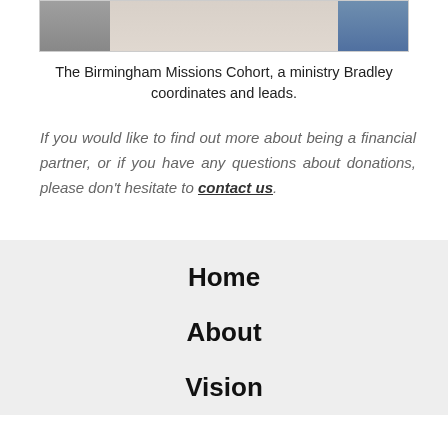[Figure (photo): Partial photo of people standing, showing feet/legs at left and person in jeans at right, with a light tiled floor visible in the center]
The Birmingham Missions Cohort, a ministry Bradley coordinates and leads.
If you would like to find out more about being a financial partner, or if you have any questions about donations, please don't hesitate to contact us.
Home
About
Vision